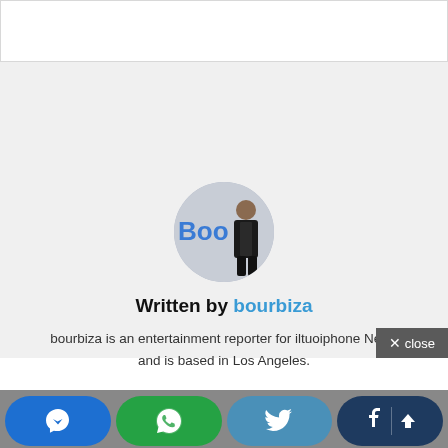[Figure (photo): Circular avatar photo of author bourbiza, showing a person in dark clothing in front of a blue 'Boo...' branded backdrop]
Written by bourbiza
bourbiza is an entertainment reporter for iltuoiphone News and is based in Los Angeles.
[Figure (screenshot): Close button with X icon and 'close' text on dark gray background]
[Figure (infographic): Social share buttons row: Messenger (blue), WhatsApp (green), Twitter (light blue), Facebook (dark navy) with up arrow scroll button]